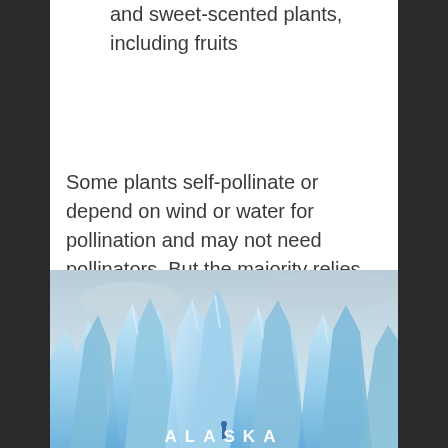and sweet-scented plants, including fruits
Some plants self-pollinate or depend on wind or water for pollination and may not need pollinators. But the majority relies on these creatures to ensure a more robust harvest. Many pollinator plants are perennials which means they will return each year. Others may spread by scattering their seed.
[Figure (photo): Photo of blue glaciers with the word ALASKA overlaid in white bold letter-spaced text]